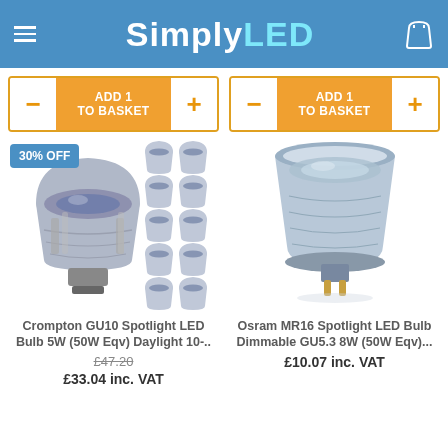SimplyLED
ADD 1 TO BASKET
ADD 1 TO BASKET
[Figure (photo): Crompton GU10 LED spotlight bulb pack with 30% OFF badge showing one large bulb and ten smaller bulbs arranged in a grid]
Crompton GU10 Spotlight LED Bulb 5W (50W Eqv) Daylight 10-..
£47.20 (strikethrough) £33.04 inc. VAT
[Figure (photo): Osram MR16 Spotlight LED Bulb Dimmable GU5.3 8W single bulb shown at an angle]
Osram MR16 Spotlight LED Bulb Dimmable GU5.3 8W (50W Eqv)...
£10.07 inc. VAT